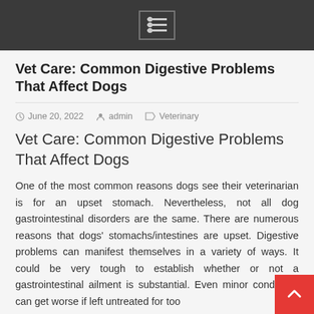[Menu icon / navigation bar]
Vet Care: Common Digestive Problems That Affect Dogs
June 20, 2022  admin  Veterinary
Vet Care: Common Digestive Problems That Affect Dogs
One of the most common reasons dogs see their veterinarian is for an upset stomach. Nevertheless, not all dog gastrointestinal disorders are the same. There are numerous reasons that dogs' stomachs/intestines are upset. Digestive problems can manifest themselves in a variety of ways. It could be very tough to establish whether or not a gastrointestinal ailment is substantial. Even minor conditions can get worse if left untreated for too